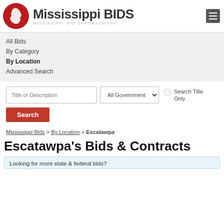[Figure (logo): Mississippi BIDS logo with red circle containing Mississippi state silhouette and site title text]
All Bids
By Category
By Location
Advanced Search
Title or Description | All Government ▾ | ☐ Search Title Only
Search
Mississippi Bids > By Location > Escatawpa
Escatawpa's Bids & Contracts
Looking for more state & federal bids?